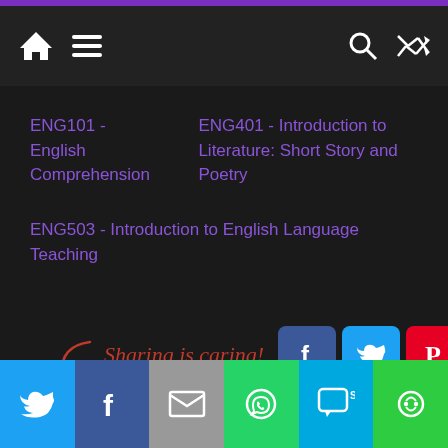Navigation bar with home, menu, search, shuffle icons
ENG101 - English Comprehension
ENG401 - Introduction to Literature: Short Story and Poetry
ENG503 - Introduction to English Language Teaching
[Figure (infographic): Sharing is caring! social share buttons: Facebook, Twitter, Pinterest, LinkedIn, Email, More]
← ENG201 – Business and Technical English
Social share bar: Twitter, Facebook, Email, WhatsApp, SMS, More